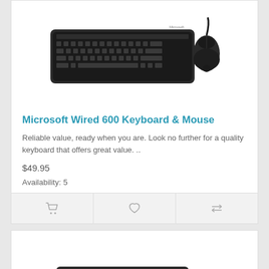[Figure (photo): Microsoft Wired 600 Keyboard and Mouse product photo on white background]
Microsoft Wired 600 Keyboard & Mouse
Reliable value, ready when you are. Look no further for a quality keyboard that offers great value. ..
$49.95
Availability: 5
[Figure (photo): Second product keyboard and mouse photo, partially visible at bottom of page]